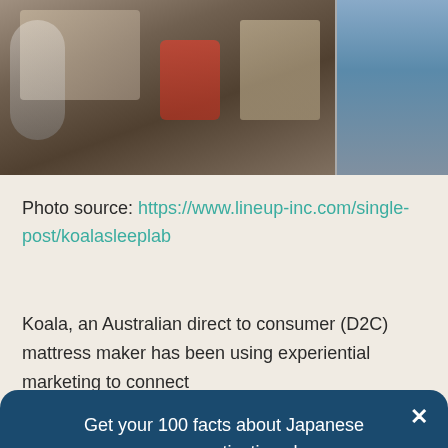[Figure (photo): Photo of people sitting at a dark table using tablets/devices, with decorative items on the table; split into two panels.]
Photo source: https://www.lineup-inc.com/single-post/koalasleeplab
Koala, an Australian direct to consumer (D2C) mattress maker has been using experiential marketing to connect
Get your 100 facts about Japanese consumer motivations here.
Here's our free e-book